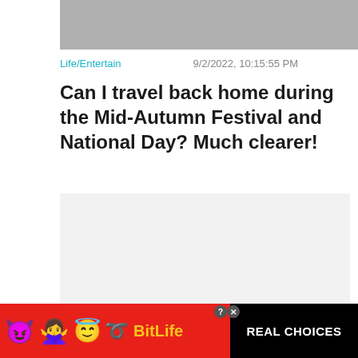[Figure (photo): Gray placeholder image at top]
Life/Entertain    9/2/2022, 10:15:55 PM
Can I travel back home during the Mid-Autumn Festival and National Day? Much clearer!
[Figure (photo): Light gray placeholder content image]
Life/Entertain    9/3/2022, 3:10:11 AM
The 77th Anniversary of the Victory of the...
[Figure (screenshot): Close X button overlay and BitLife advertisement banner with REAL CHOICES text]